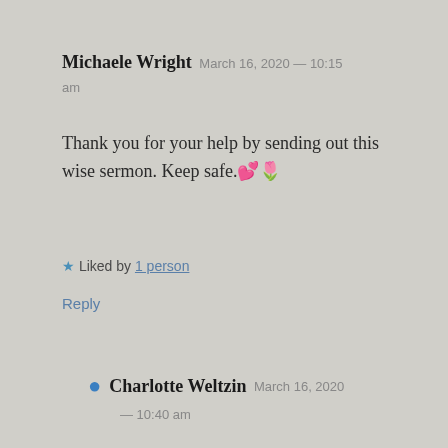Michaele Wright  March 16, 2020 — 10:15 am
Thank you for your help by sending out this wise sermon. Keep safe.💝🌷
★ Liked by 1 person
Reply
• Charlotte Weltzin  March 16, 2020 — 10:40 am